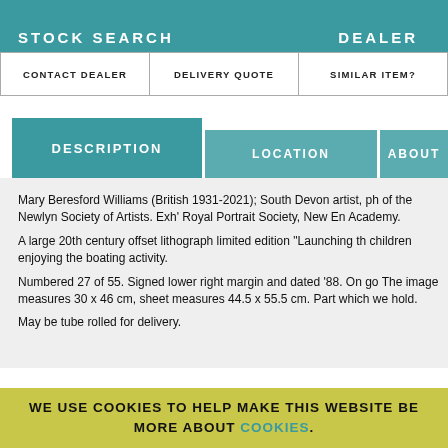STOCK SEARCH   DEALER
CONTACT DEALER
DELIVERY QUOTE
SIMILAR ITEM?
DESCRIPTION
LOCATION
ABOUT
Mary Beresford Williams (British 1931-2021); South Devon artist, ph of the Newlyn Society of Artists. Exh' Royal Portrait Society, New En Academy.
A large 20th century offset lithograph limited edition "Launching th children enjoying the boating activity.
Numbered 27 of 55. Signed lower right margin and dated '88. On go The image measures 30 x 46 cm, sheet measures 44.5 x 55.5 cm. Part which we hold.
May be tube rolled for delivery.
WE USE COOKIES TO HELP MAKE THIS WEBSITE BE MORE ABOUT COOKIES.